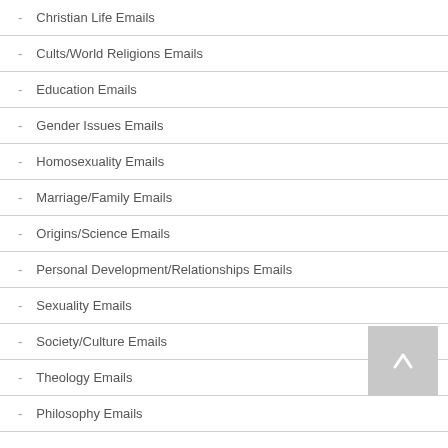- Christian Life Emails
- Cults/World Religions Emails
- Education Emails
- Gender Issues Emails
- Homosexuality Emails
- Marriage/Family Emails
- Origins/Science Emails
- Personal Development/Relationships Emails
- Sexuality Emails
- Society/Culture Emails
- Theology Emails
- Philosophy Emails